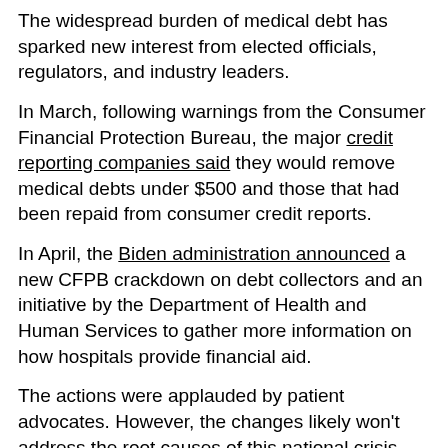The widespread burden of medical debt has sparked new interest from elected officials, regulators, and industry leaders.
In March, following warnings from the Consumer Financial Protection Bureau, the major credit reporting companies said they would remove medical debts under $500 and those that had been repaid from consumer credit reports.
In April, the Biden administration announced a new CFPB crackdown on debt collectors and an initiative by the Department of Health and Human Services to gather more information on how hospitals provide financial aid.
The actions were applauded by patient advocates. However, the changes likely won't address the root causes of this national crisis.
“The No. 1 reason, and the No. 2, 3, and 4 reasons, that people go into medical debt is they don’t have the money,” said No. 5 because of what it’s a Continue below